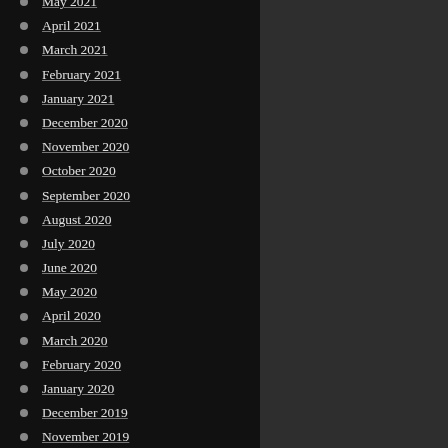May 2021
April 2021
March 2021
February 2021
January 2021
December 2020
November 2020
October 2020
September 2020
August 2020
July 2020
June 2020
May 2020
April 2020
March 2020
February 2020
January 2020
December 2019
November 2019